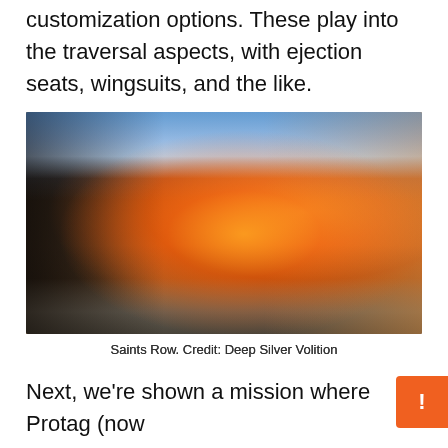customization options. These play into the traversal aspects, with ejection seats, wingsuits, and the like.
[Figure (photo): Screenshot from Saints Row video game showing action scene with characters on a street, explosion with hot air balloon, and gunfight. Warm sunset lighting.]
Saints Row. Credit: Deep Silver Volition
Next, we're shown a mission where Protag (now